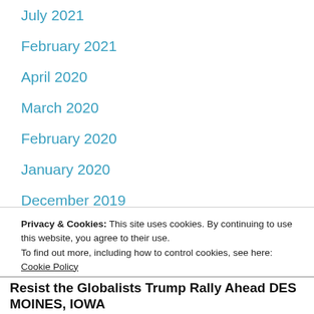July 2021
February 2021
April 2020
March 2020
February 2020
January 2020
December 2019
November 2019
Privacy & Cookies: This site uses cookies. By continuing to use this website, you agree to their use.
To find out more, including how to control cookies, see here: Cookie Policy
Close and accept
Resist the Globalists Trump Rally Ahead DES MOINES, IOWA